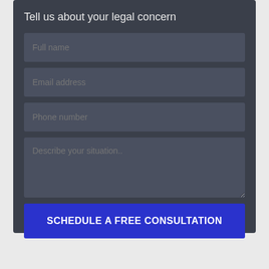Tell us about your legal concern
Full name
Email address
Phone number
Describe your situation..
SCHEDULE A FREE CONSULTATION